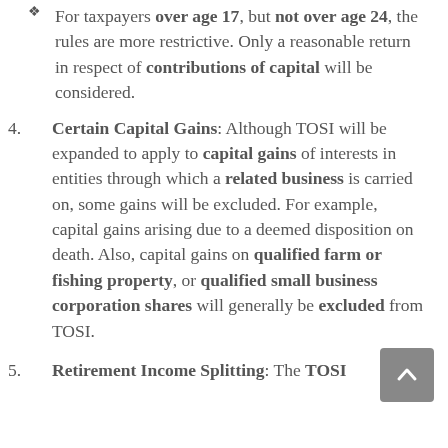For taxpayers over age 17, but not over age 24, the rules are more restrictive. Only a reasonable return in respect of contributions of capital will be considered.
Certain Capital Gains: Although TOSI will be expanded to apply to capital gains of interests in entities through which a related business is carried on, some gains will be excluded. For example, capital gains arising due to a deemed disposition on death. Also, capital gains on qualified farm or fishing property, or qualified small business corporation shares will generally be excluded from TOSI.
Retirement Income Splitting: The TOSI